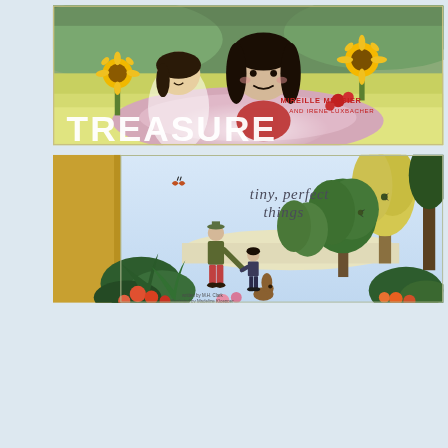[Figure (illustration): Book cover of 'TREASURE' by Mireille Messier and Irene Luxbacher. Shows two children with dark hair in a meadow with sunflowers, the title in large white letters at the bottom, and the authors' names in red and white text above.]
[Figure (illustration): Book cover of 'tiny, perfect things' with a mustard yellow hardcover spine visible on the left. The cover shows an adult and small child walking hand-in-hand through a lush garden scene with tropical plants, flowers, and trees illustrated in a flat folk-art style. Author and illustrator names appear in small text at the bottom.]